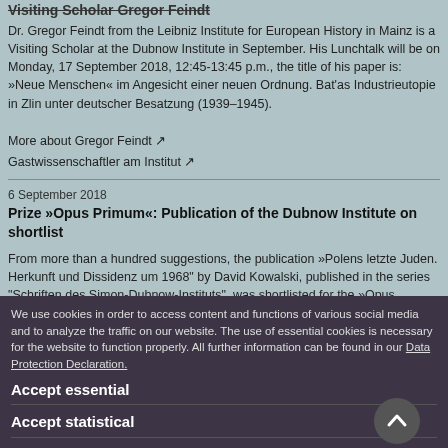Visiting Scholar Gregor Feindt
Dr. Gregor Feindt from the Leibniz Institute for European History in Mainz is a Visiting Scholar at the Dubnow Institute in September. His Lunchtalk will be on Monday, 17 September 2018, 12:45-13:45 p.m., the title of his paper is: »Neue Menschen« im Angesicht einer neuen Ordnung. Bat'as Industrieutopie in Zlin unter deutscher Besatzung (1939–1945).
More about Gregor Feindt ↗
Gastwissenschaftler am Institut ↗
6 September 2018
Prize »Opus Primum«: Publication of the Dubnow Institute on shortlist
From more than a hundred suggestions, the publication »Polens letzte Juden. Herkunft und Dissidenz um 1968" by David Kowalski, published in the series "Schriften des Simon-Dubnow-Instituts", was shortlisted for the »Opus Primum« Prize. With this prize, the Volkswagen Foundation annually awards a German-language publication of high scientific quality, which must be easy to read and understand for a broad public.
We use cookies in order to access content and functions of various social media and to analyze the traffic on our website. The use of essential cookies is necessary for the website to function properly. All further information can be found in our Data Protection Declaration.
Accept essential
Accept statistical
Accept all
With generous support from the Rothschild Foundation Hanadiv Europe, an international group of researchers will meet regularly at the Dubnow Institute over the next two years. They will prepare two comprehensive funding